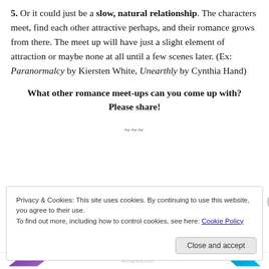5. Or it could just be a slow, natural relationship. The characters meet, find each other attractive perhaps, and their romance grows from there. The meet up will have just a slight element of attraction or maybe none at all until a few scenes later. (Ex: Paranormalcy by Kiersten White, Unearthly by Cynthia Hand)
What other romance meet-ups can you come up with? Please share!
~~~
Privacy & Cookies: This site uses cookies. By continuing to use this website, you agree to their use.
To find out more, including how to control cookies, see here: Cookie Policy